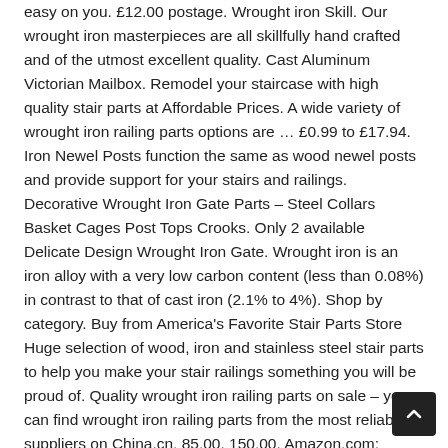easy on you. £12.00 postage. Wrought iron Skill. Our wrought iron masterpieces are all skillfully hand crafted and of the utmost excellent quality. Cast Aluminum Victorian Mailbox. Remodel your staircase with high quality stair parts at Affordable Prices. A wide variety of wrought iron railing parts options are … £0.99 to £17.94. Iron Newel Posts function the same as wood newel posts and provide support for your stairs and railings. Decorative Wrought Iron Gate Parts – Steel Collars Basket Cages Post Tops Crooks. Only 2 available Delicate Design Wrought Iron Gate. Wrought iron is an iron alloy with a very low carbon content (less than 0.08%) in contrast to that of cast iron (2.1% to 4%). Shop by category. Buy from America's Favorite Stair Parts Store Huge selection of wood, iron and stainless steel stair parts to help you make your stair railings something you will be proud of. Quality wrought iron railing parts on sale – you can find wrought iron railing parts from the most reliable suppliers on China.cn. 85.00. 150.00. Amazon.com: wrought iron railing parts. These railings parts are developed using optimal